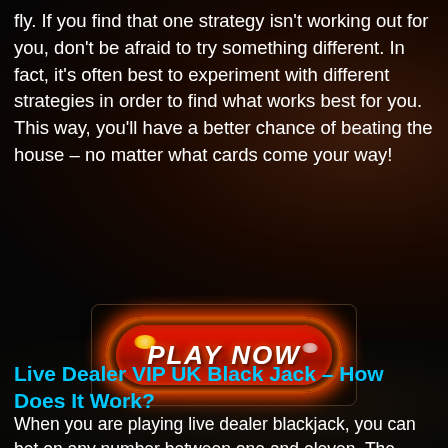fly. If you find that one strategy isn't working out for you, don't be afraid to try something different. In fact, it's often best to experiment with different strategies in order to find what works best for you. This way, you'll have a better chance of beating the house – no matter what cards come your way!
[Figure (illustration): Red glossy 'PLAY NOW' button with orange glow, inside a dark bordered rectangle]
Live Dealer VIP UK Black Jack – How Does It Work?
When you are playing live dealer blackjack, you can bet on any number between one and eleven. The hand is then played out and the player who